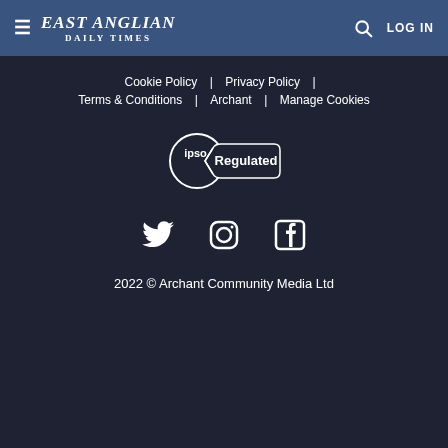EAST ANGLIAN DAILY TIMES | LOG IN
Cookie Policy | Privacy Policy | Terms & Conditions | Archant | Manage Cookies
[Figure (logo): IPSO Regulated badge - circular IPSO logo with 'Regulated' text on banner ribbon]
[Figure (logo): Social media icons: Twitter bird, Instagram camera, Facebook F]
2022 © Archant Community Media Ltd